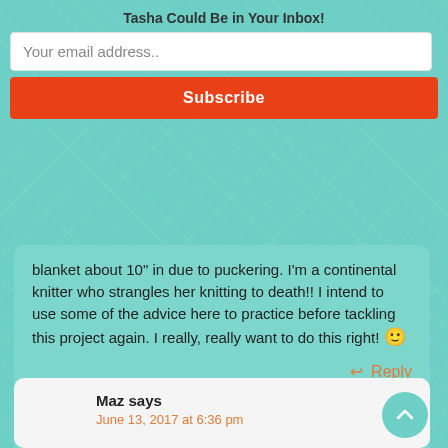Tasha Could Be in Your Inbox!
Your email address..
Subscribe
blanket about 10" in due to puckering. I'm a continental knitter who strangles her knitting to death!! I intend to use some of the advice here to practice before tackling this project again. I really, really want to do this right! 🙂
Reply
Maz says
June 13, 2017 at 6:36 pm